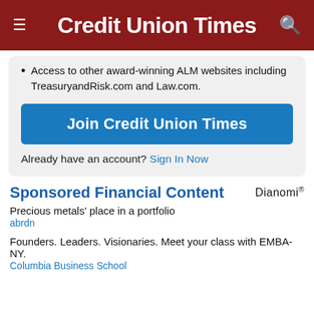Credit Union Times
Access to other award-winning ALM websites including TreasuryandRisk.com and Law.com.
Join Credit Union Times
Already have an account? Sign In Now
Sponsored Financial Content
Dianomi
Precious metals' place in a portfolio
abrdn
Founders. Leaders. Visionaries. Meet your class with EMBA-NY.
Columbia Business School